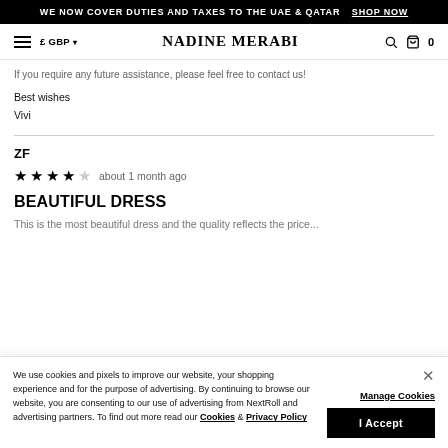WE NOW COVER DUTIES AND TAXES TO THE UAE & QATAR  SHOP NOW
NADINE MERABI  £ GBP  0
If you require any future assistance, please feel free to contact us!
Best wishes
Vivi
ZF
★★★★☆  about 1 month ago
BEAUTIFUL DRESS
This is the most beautiful dress and the quality reflects the price...
We use cookies and pixels to improve our website, your shopping experience and for the purpose of advertising. By continuing to browse our website, you are consenting to our use of advertising from NextRoll and advertising partners. To find out more read our Cookies & Privacy Policy
Manage Cookies
I Accept